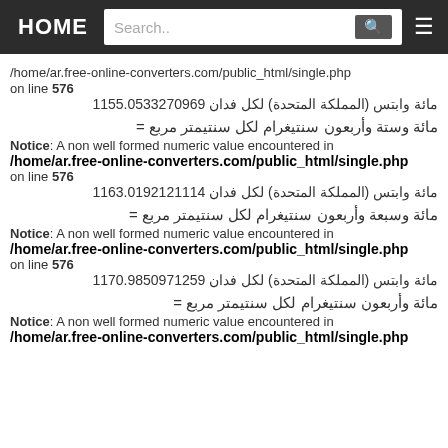HOME | Search.. | ☰
/home/ar.free-online-converters.com/public_html/single.php on line 576
مائة وابتس (المملكة المتحدة) لكل فدان 1155.0533270969
مائة وستة وأربعون سنتيغرام لكل سنتيمتر مربع =
Notice: A non well formed numeric value encountered in /home/ar.free-online-converters.com/public_html/single.php on line 576
مائة وابتس (المملكة المتحدة) لكل فدان 1163.0192121114
مائة وسبعة وأربعون سنتيغرام لكل سنتيمتر مربع =
Notice: A non well formed numeric value encountered in /home/ar.free-online-converters.com/public_html/single.php on line 576
مائة وابتس (المملكة المتحدة) لكل فدان 1170.9850971259
مائة وأربعون سنتيغرام لكل سنتيمتر مربع =
Notice: A non well formed numeric value encountered in /home/ar.free-online-converters.com/public_html/single.php